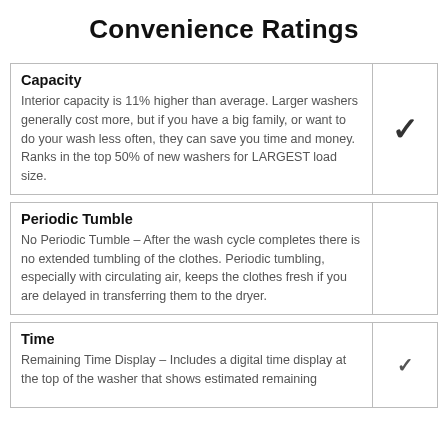Convenience Ratings
| Feature | Rating |
| --- | --- |
| Capacity
Interior capacity is 11% higher than average. Larger washers generally cost more, but if you have a big family, or want to do your wash less often, they can save you time and money. Ranks in the top 50% of new washers for LARGEST load size. | ✓ |
| Periodic Tumble
No Periodic Tumble – After the wash cycle completes there is no extended tumbling of the clothes. Periodic tumbling, especially with circulating air, keeps the clothes fresh if you are delayed in transferring them to the dryer. |  |
| Time
Remaining Time Display – Includes a digital time display at the top of the washer that shows estimated remaining... | ✓ |